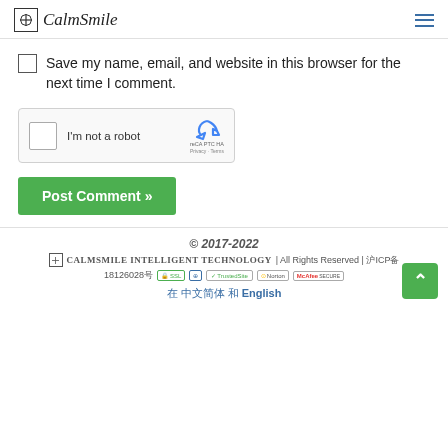CalmSmile [logo] [hamburger menu]
Save my name, email, and website in this browser for the next time I comment.
[Figure (screenshot): reCAPTCHA widget showing checkbox, 'I'm not a robot' text, and reCAPTCHA logo with Privacy and Terms links]
Post Comment »
© 2017-2022 CalmSmile Intelligent Technology | All Rights Reserved | 沪ICP备 18126028号 [security badges] 在 中文简体 和 English [back to top button]